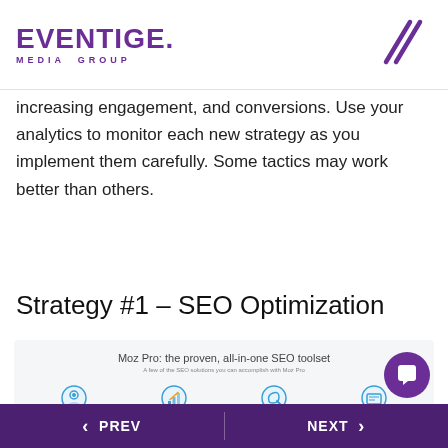EVENTIGE. MEDIA GROUP
increasing engagement, and conversions. Use your analytics to monitor each new strategy as you implement them carefully. Some tactics may work better than others.
Strategy #1 – SEO Optimization
[Figure (screenshot): Screenshot of Moz Pro website showing 'Moz Pro: the proven, all-in-one SEO toolset' with four features: Site audits, Rank tracking, Backlink analysis, Keyword research]
< PREV   NEXT >